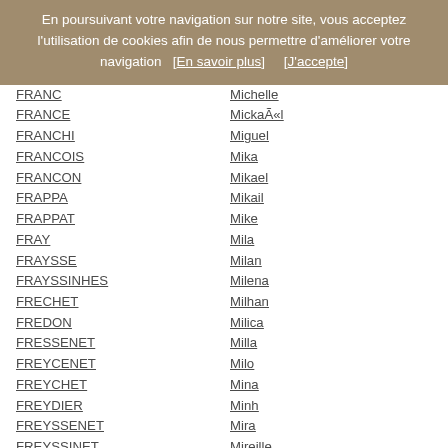En poursuivant votre navigation sur notre site, vous acceptez l'utilisation de cookies afin de nous permettre d'améliorer votre navigation   [En savoir plus]      [J'accepte]
FRANC
Michelle
FRANCE
Mickaël
FRANCHI
Miguel
FRANCOIS
Mika
FRANCON
Mikael
FRAPPA
Mikail
FRAPPAT
Mike
FRAY
Mila
FRAYSSE
Milan
FRAYSSINHES
Milena
FRECHET
Milhan
FREDON
Milica
FRESSENET
Milla
FREYCENET
Milo
FREYCHET
Mina
FREYDIER
Minh
FREYSSENET
Mira
FREYSSINET
Mireille
FRIGIERE
Miya
FROMENT
Moche
FROMENTIER
Modibo
FROMENTIN
Mody